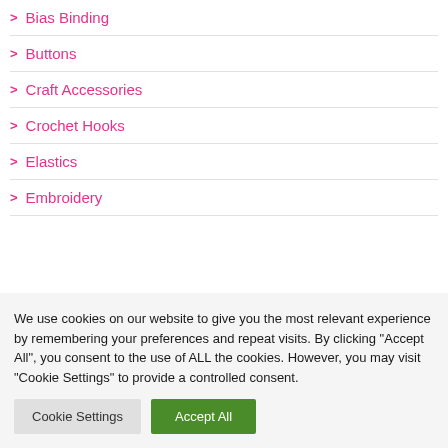> Bias Binding
> Buttons
> Craft Accessories
> Crochet Hooks
> Elastics
> Embroidery
We use cookies on our website to give you the most relevant experience by remembering your preferences and repeat visits. By clicking "Accept All", you consent to the use of ALL the cookies. However, you may visit "Cookie Settings" to provide a controlled consent.